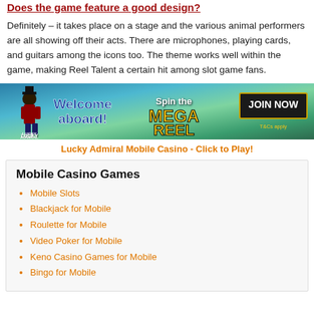Does the game feature a good design?
Definitely – it takes place on a stage and the various animal performers are all showing off their acts. There are microphones, playing cards, and guitars among the icons too. The theme works well within the game, making Reel Talent a certain hit among slot game fans.
[Figure (illustration): Lucky Admiral Casino banner ad with 'Welcome aboard!' and 'Spin the MEGA REEL' text and JOIN NOW button]
Lucky Admiral Mobile Casino - Click to Play!
Mobile Casino Games
Mobile Slots
Blackjack for Mobile
Roulette for Mobile
Video Poker for Mobile
Keno Casino Games for Mobile
Bingo for Mobile